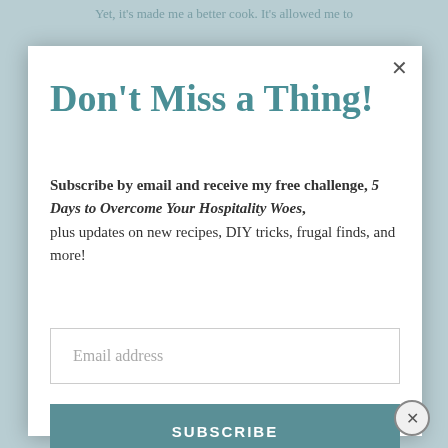Yet, it's made me a better cook. It's allowed me to
Don't Miss a Thing!
Subscribe by email and receive my free challenge, 5 Days to Overcome Your Hospitality Woes, plus updates on new recipes, DIY tricks, frugal finds, and more!
Email address
SUBSCRIBE
following the exact directions, use the plain